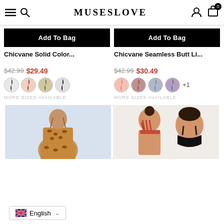MUSESLOVE
Add To Bag
Add To Bag
Chicvane Solid Color...
Chicvane Seamless Butt Li...
$42.99  $29.49
$42.99  $30.49
MORE SIZES AVAILABLE
MORE SIZES AVAILABLE
[Figure (photo): Leopard print sports bra/crop top on model]
[Figure (photo): Woman in red strappy sports bra and black bra]
English